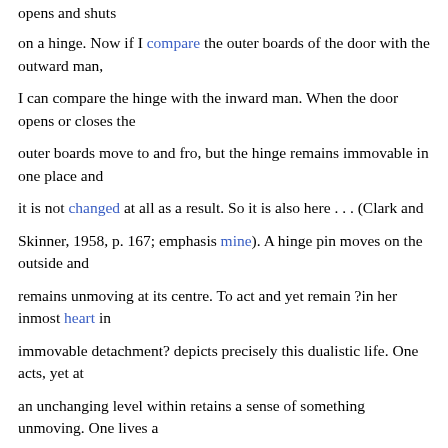opens and shuts
on a hinge. Now if I compare the outer boards of the door with the outward man,
I can compare the hinge with the inward man. When the door opens or closes the
outer boards move to and fro, but the hinge remains immovable in one place and
it is not changed at all as a result. So it is also here . . . (Clark and
Skinner, 1958, p. 167; emphasis mine). A hinge pin moves on the outside and
remains unmoving at its centre. To act and yet remain ?in her inmost heart in
immovable detachment? depicts precisely this dualistic life. One acts, yet at
an unchanging level within retains a sense of something unmoving. One lives a
dichotomous existence. Inside, she experiences an interior silence, outside she